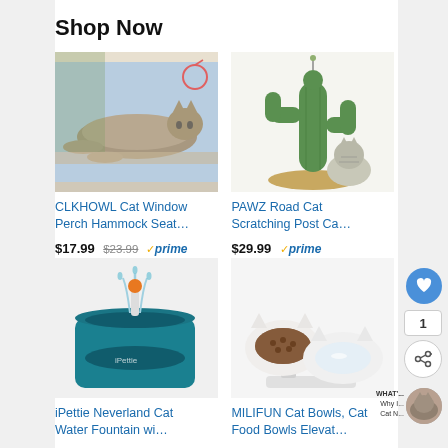Shop Now
[Figure (photo): Cat lying on a window perch hammock, reaching toward a hanging toy bird near the window]
CLKHOWL Cat Window Perch Hammock Seat…
$17.99  $23.99  ✓prime  ★★★★☆ (1576)
[Figure (photo): Cactus-shaped cat scratching post with a tabby cat leaning against it]
PAWZ Road Cat Scratching Post Ca…
$29.99  ✓prime  ★★★★★ (2610)
[Figure (photo): iPettie teal automatic pet water fountain with orange pump]
iPettie Neverland Cat Water Fountain wi…
[Figure (photo): MILIFUN clear elevated cat food bowls set]
MILIFUN Cat Bowls, Cat Food Bowls Elevat…